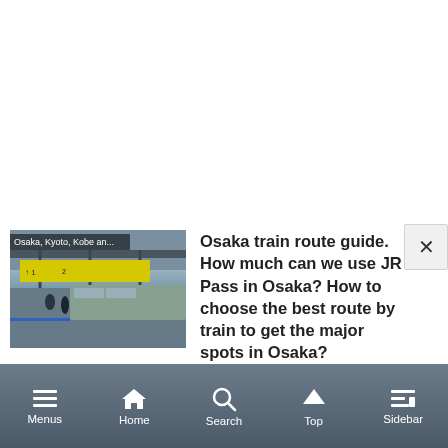[Figure (screenshot): Mobile app screenshot showing two article cards with thumbnails. First article has a train station photo labeled 'Osaka, Kyoto, Kobe an...' Second article has a transit map labeled 'Chubu Area.' Bottom navigation bar with Menus, Home, Search, Top, Sidebar icons. A close (X) button in upper right.]
Osaka train route guide. How much can we use JR Pass in Osaka? How to choose the best route by train to get the major spots in Osaka?
2013.10.30
Ise access guide. Kintetsu is the best way but we can use JR Pass too.
2013.06.01
Menus  Home  Search  Top  Sidebar